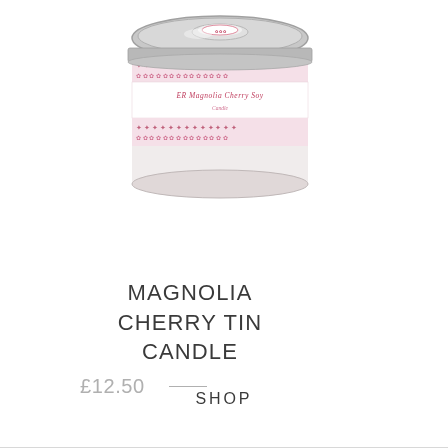[Figure (illustration): A round metal tin candle with a silver lid. The tin has a decorative label with pink floral/cross patterns on white bands and script text reading 'Magnolia Cherry Soy' in pink cursive on a white center band.]
MAGNOLIA CHERRY TIN CANDLE
£12.50
SHOP